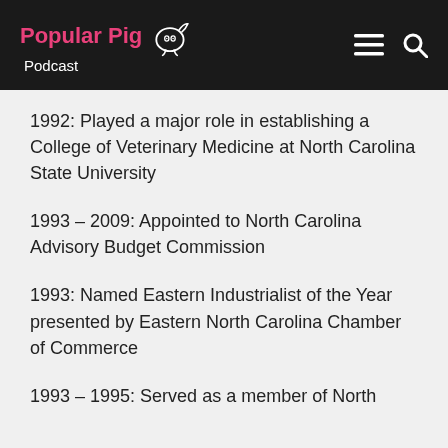Popular Pig Podcast
1992: Played a major role in establishing a College of Veterinary Medicine at North Carolina State University
1993 – 2009: Appointed to North Carolina Advisory Budget Commission
1993: Named Eastern Industrialist of the Year presented by Eastern North Carolina Chamber of Commerce
1993 – 1995: Served as a member of North